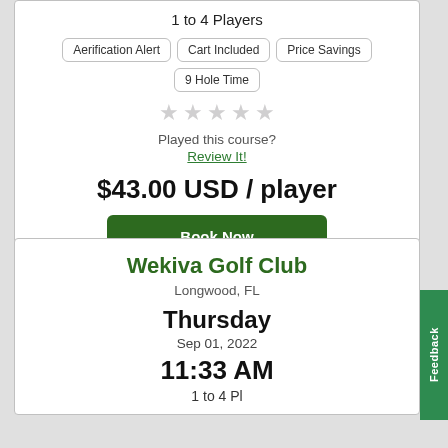1 to 4 Players
Aerification Alert
Cart Included
Price Savings
9 Hole Time
Played this course? Review It!
$43.00 USD / player
Book Now
Wekiva Golf Club
Longwood, FL
Thursday
Sep 01, 2022
11:33 AM
1 to 4 Players